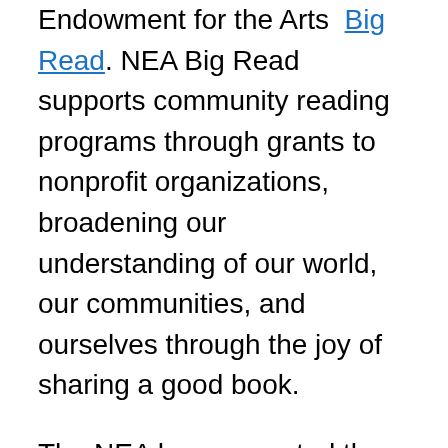Endowment for the Arts Big Read. NEA Big Read supports community reading programs through grants to nonprofit organizations, broadening our understanding of our world, our communities, and ourselves through the joy of sharing a good book.
The NEA has supported the National Book Festival since its inception in 2001. This year's free festival will take place from 9 a.m. to 10 p.m. at the Walter E. Washington Convention Center, 801 Mt. Vernon Place, NW, in Washington, DC, and will feature more than 120 writers, poets, and illustrators. For more information about the National Book Festival